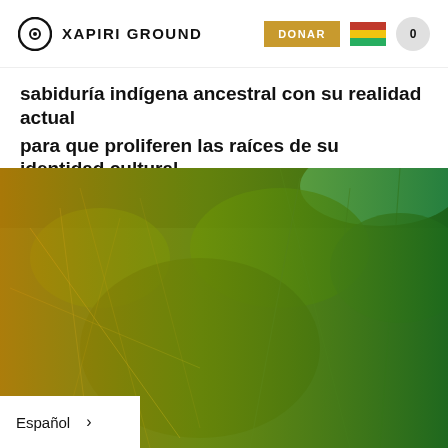XAPIRI GROUND | DONAR
sabiduría indígena ancestral con su realidad actual para que proliferen las raíces de su identidad cultural.
[Figure (photo): Photo of forest/jungle vegetation with gradient overlay from orange/yellow on the left to dark green on the right, with teal sky visible in the top right corner.]
Español >